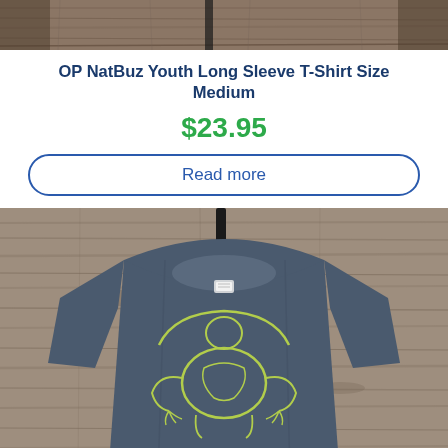[Figure (photo): Top portion of a product image showing a wooden plank background, partially cropped at the top of the page]
OP NatBuz Youth Long Sleeve T-Shirt Size Medium
$23.95
Read more
[Figure (photo): Navy blue youth short sleeve t-shirt laid flat on a wooden plank background. The shirt features a yellow-green outline graphic of a turtle/frog on the chest. A small white label is visible at the collar.]